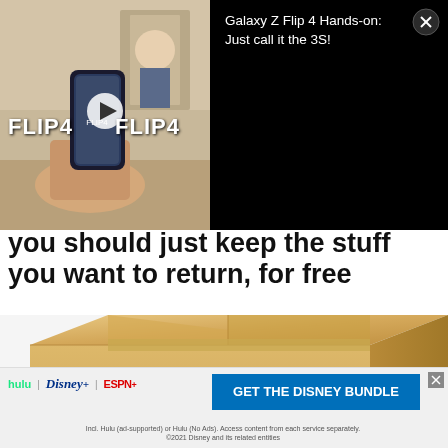[Figure (screenshot): Video ad thumbnail showing a person holding a Samsung Galaxy Z Flip 4 phone, with FLIP4 text overlay and a play button. Black background on the right side with text 'Galaxy Z Flip 4 Hands-on: Just call it the 3S!' and a close button.]
you should just keep the stuff you want to return, for free
[Figure (photo): A cardboard box with the word RETURN printed in large bold black letters on the side.]
Report an ad
[Figure (screenshot): Disney Bundle advertisement banner showing hulu, Disney+, and ESPN+ logos with a 'GET THE DISNEY BUNDLE' button. Fine print reads: Incl. Hulu (ad-supported) or Hulu (No Ads). Access content from each service separately. ©2021 Disney and its related entities]